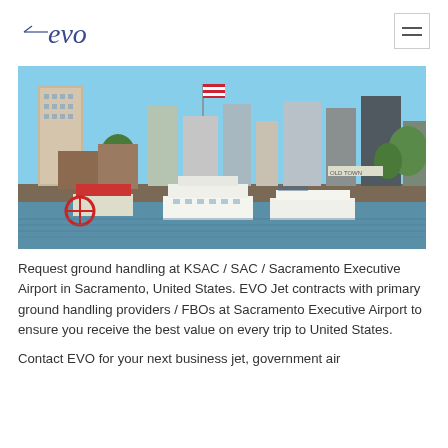evo [logo]
[Figure (photo): Cityscape photo of Sacramento waterfront showing buildings, river boats, a US flag, and the Sacramento skyline reflected near the water.]
Request ground handling at KSAC / SAC / Sacramento Executive Airport in Sacramento, United States. EVO Jet contracts with primary ground handling providers / FBOs at Sacramento Executive Airport to ensure you receive the best value on every trip to United States.
Contact EVO for your next business jet, government air